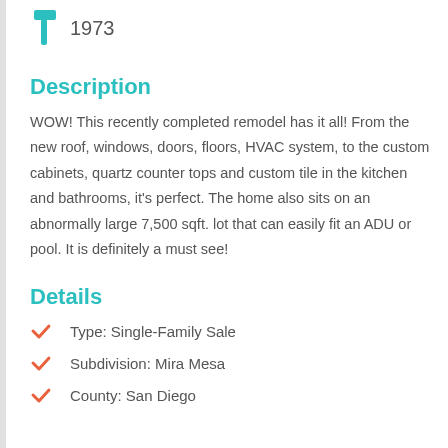[Figure (illustration): Teal hammer icon with year 1973]
Description
WOW! This recently completed remodel has it all! From the new roof, windows, doors, floors, HVAC system, to the custom cabinets, quartz counter tops and custom tile in the kitchen and bathrooms, it's perfect. The home also sits on an abnormally large 7,500 sqft. lot that can easily fit an ADU or pool. It is definitely a must see!
Details
Type: Single-Family Sale
Subdivision: Mira Mesa
County: San Diego